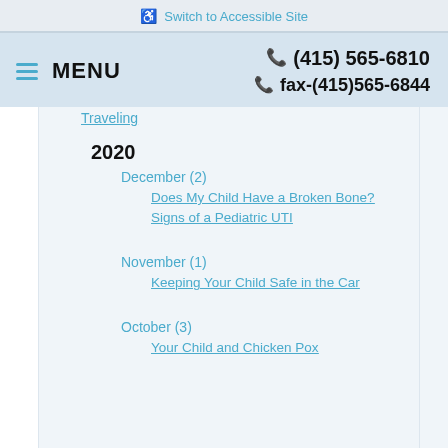♿ Switch to Accessible Site
≡ MENU   ☎ (415) 565-6810   ☎ fax-(415)565-6844
Traveling
2020
December (2)
Does My Child Have a Broken Bone?
Signs of a Pediatric UTI
November (1)
Keeping Your Child Safe in the Car
October (3)
Your Child and Chicken Pox